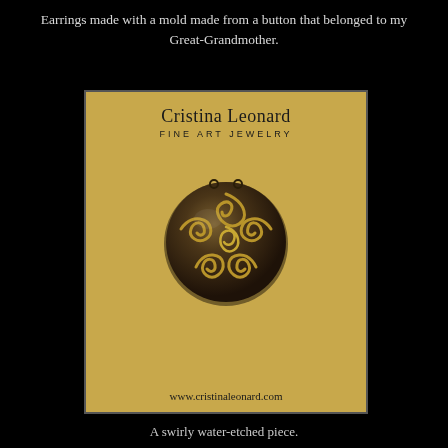Earrings made with a mold made from a button that belonged to my Great-Grandmother.
[Figure (photo): Photo of a Cristina Leonard Fine Art Jewelry card featuring a round swirly water-etched silver earring/button piece on a golden-tan card background with website www.cristinaleonard.com]
A swirly water-etched piece.